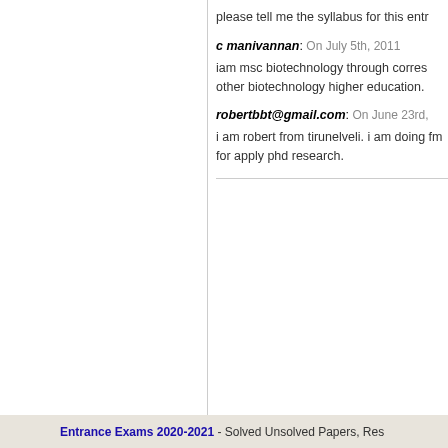please tell me the syllabus for this entr
c manivannan: On July 5th, 2011
iam msc biotechnology through corres other biotechnology higher education.
robertbbt@gmail.com: On June 23rd,
i am robert from tirunelveli. i am doing fm for apply phd research.
Previous: Network Administrator – How to
Entrance Exams 2020-2021 - Solved Unsolved Papers, Res